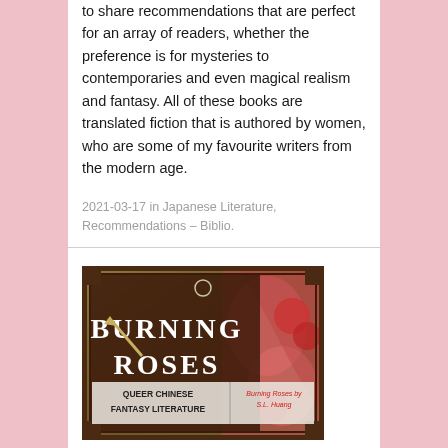to share recommendations that are perfect for an array of readers, whether the preference is for mysteries to contemporaries and even magical realism and fantasy. All of these books are translated fiction that is authored by women, who are some of my favourite writers from the modern age.
2021-03-17 in Japanese Literature, Recommendations – Biblio.
[Figure (illustration): Book cover image with dark brown decorative border showing title 'BURNING ROSES' in large white serif text, with subtitle banner 'QUEER CHINESE FANTASY LITERATURE' and smaller text 'Burning Roses by S.L. Huang'. Colorful illustrated background with roses and figures.]
Burning Roses by S.L. Huang: A